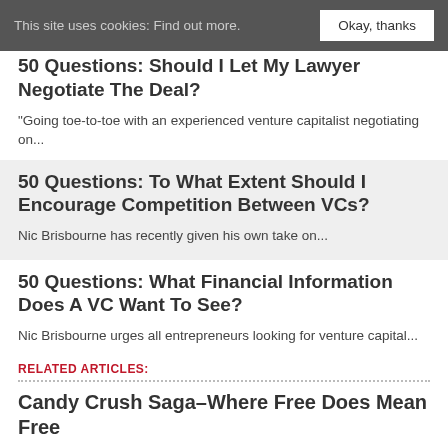This site uses cookies: Find out more.  Okay, thanks
50 Questions: Should I Let My Lawyer Negotiate The Deal?
"Going toe-to-toe with an experienced venture capitalist negotiating on...
50 Questions: To What Extent Should I Encourage Competition Between VCs?
Nic Brisbourne has recently given his own take on...
50 Questions: What Financial Information Does A VC Want To See?
Nic Brisbourne urges all entrepreneurs looking for venture capital...
RELATED ARTICLES:
Candy Crush Saga–Where Free Does Mean Free
Candy Crush Saga...